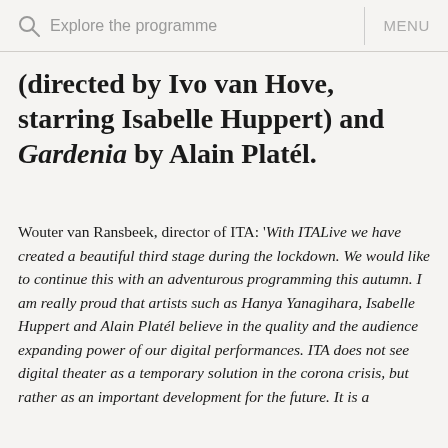Explore the programme   MENU
(directed by Ivo van Hove, starring Isabelle Huppert) and Gardenia by Alain Platél.
Wouter van Ransbeek, director of ITA: 'With ITALive we have created a beautiful third stage during the lockdown. We would like to continue this with an adventurous programming this autumn. I am really proud that artists such as Hanya Yanagihara, Isabelle Huppert and Alain Platél believe in the quality and the audience expanding power of our digital performances. ITA does not see digital theater as a temporary solution in the corona crisis, but rather as an important development for the future. It is a